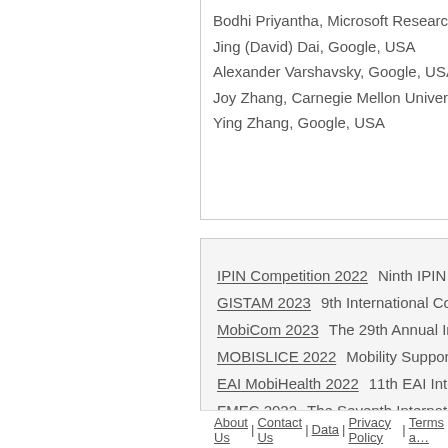Bodhi Priyantha, Microsoft Research, USA
Jing (David) Dai, Google, USA
Alexander Varshavsky, Google, USA
Joy Zhang, Carnegie Mellon University, USA
Ying Zhang, Google, USA
IPIN Competition 2022   Ninth IPIN Compe...
GISTAM 2023   9th International Conferen...
MobiCom 2023   The 29th Annual Internat...
MOBISLICE 2022   Mobility Support in Slic...
EAI MobiHealth 2022   11th EAI Internatio...
FMEC 2022   The Seventh International C...
WoWMoM 2023   24th IEEE International S...
IJU 2022   International Journal of Ubiquit...
PerVehicle 2022   4th International Works...
FMCIoT 2022   International Workshop on...
About Us | Contact Us | Data | Privacy Policy | Terms a...